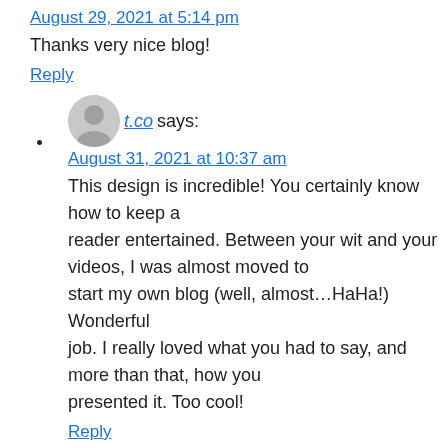August 29, 2021 at 5:14 pm
Thanks very nice blog!
Reply
t.co says:
August 31, 2021 at 10:37 am
This design is incredible! You certainly know how to keep a reader entertained. Between your wit and your videos, I was almost moved to start my own blog (well, almost…HaHa!) Wonderful job. I really loved what you had to say, and more than that, how you presented it. Too cool!
Reply